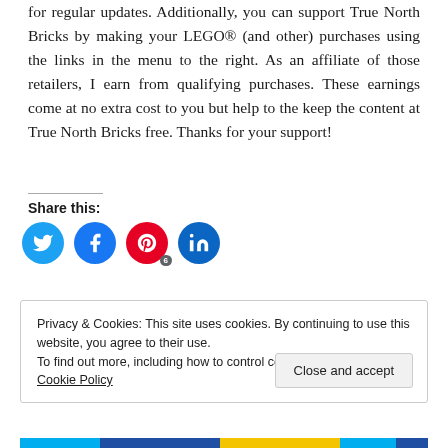for regular updates. Additionally, you can support True North Bricks by making your LEGO® (and other) purchases using the links in the menu to the right. As an affiliate of those retailers, I earn from qualifying purchases. These earnings come at no extra cost to you but help to the keep the content at True North Bricks free. Thanks for your support!
Share this:
[Figure (other): Social sharing icons: Twitter (blue circle), Facebook (blue circle), Pinterest (red circle with badge '6'), LinkedIn (blue circle)]
Privacy & Cookies: This site uses cookies. By continuing to use this website, you agree to their use.
To find out more, including how to control cookies, see here: Cookie Policy
Close and accept